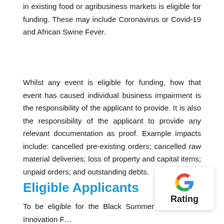in existing food or agribusiness markets is eligible for funding. These may include Coronavirus or Covid-19 and African Swine Fever.
Whilst any event is eligible for funding, how that event has caused individual business impairment is the responsibility of the applicant to provide. It is also the responsibility of the applicant to provide any relevant documentation as proof. Example impacts include: cancelled pre-existing orders; cancelled raw material deliveries; loss of property and capital items; unpaid orders; and outstanding debts.
Eligible Applicants
To be eligible for the Black Summer Innovation F… must:
[Figure (logo): Google G logo above the word 'Rating' in a white rounded box with shadow]